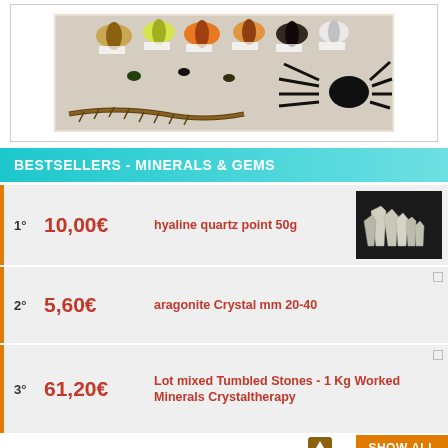[Figure (photo): A display board of pinned insects, butterflies, moths, beetles, a centipede, and a large spider, with labels]
BESTSELLERS - MINERALS & GEMS
1° 10,00€ hyaline quartz point 50g
2° 5,60€ aragonite Crystal mm 20-40
3° 61,20€ Lot mixed Tumbled Stones - 1 Kg Worked Minerals Crystaltherapy